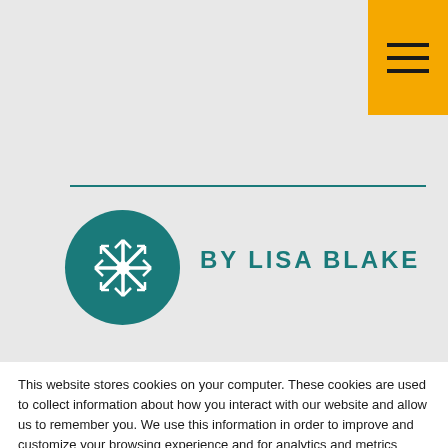[Figure (logo): Navigation hamburger menu button with three horizontal lines on yellow/amber background, top right corner]
[Figure (logo): Circular teal logo with white snowflake/star pattern, representing By Lisa Blake brand]
BY LISA BLAKE
This website stores cookies on your computer. These cookies are used to collect information about how you interact with our website and allow us to remember you. We use this information in order to improve and customize your browsing experience and for analytics and metrics about our visitors both on this website and other media. To find out more about the cookies we use, see our Privacy Policy. If you decline, your information won't be tracked when you visit this website. A single cookie will be used in your browser to remember your preference not to be tracked.
Accept
Decline